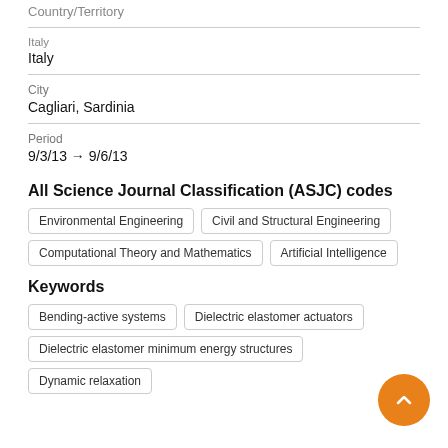Country/Territory
Italy
City
Cagliari, Sardinia
Period
9/3/13 → 9/6/13
All Science Journal Classification (ASJC) codes
Environmental Engineering
Civil and Structural Engineering
Computational Theory and Mathematics
Artificial Intelligence
Keywords
Bending-active systems
Dielectric elastomer actuators
Dielectric elastomer minimum energy structures
Dynamic relaxation